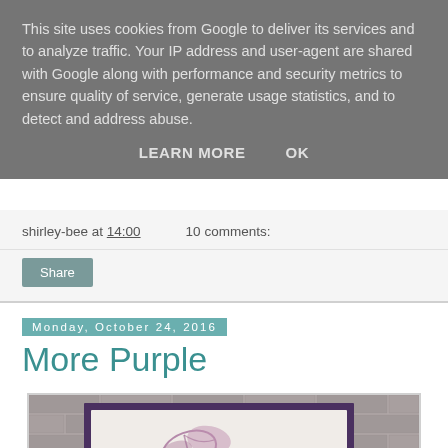This site uses cookies from Google to deliver its services and to analyze traffic. Your IP address and user-agent are shared with Google along with performance and security metrics to ensure quality of service, generate usage statistics, and to detect and address abuse.
LEARN MORE    OK
shirley-bee at 14:00    10 comments:
Share
Monday, October 24, 2016
More Purple
[Figure (photo): A handmade greeting card with purple floral stamping and cursive text reading 'go after your dreams', displayed against a grey brick wall background]